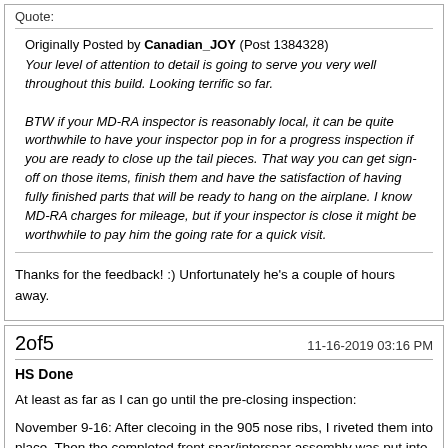Quote:
Originally Posted by Canadian_JOY (Post 1384328)
Your level of attention to detail is going to serve you very well throughout this build. Looking terrific so far.

BTW if your MD-RA inspector is reasonably local, it can be quite worthwhile to have your inspector pop in for a progress inspection if you are ready to close up the tail pieces. That way you can get sign-off on those items, finish them and have the satisfaction of having fully finished parts that will be ready to hang on the airplane. I know MD-RA charges for mileage, but if your inspector is close it might be worthwhile to pay him the going rate for a quick visit.
Thanks for the feedback! :) Unfortunately he's a couple of hours away.
2of5
11-16-2019 03:16 PM
HS Done
At least as far as I can go until the pre-closing inspection:
November 9-16: After clecoing in the 905 nose ribs, I riveted them into place. Then the completed front spar/interspar assembly was put into place and clecoed in. Skipping every other hole, I still managed to run out of silver 3/32" clecoes. I ended up working from one side to the